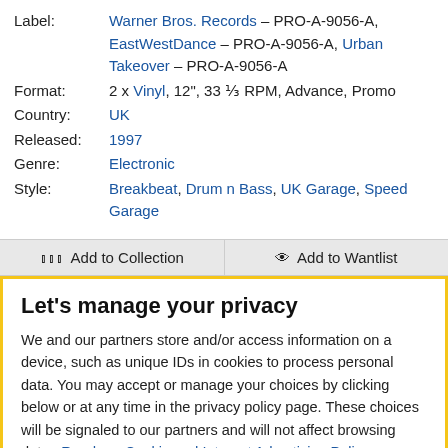Label: Warner Bros. Records – PRO-A-9056-A, EastWestDance – PRO-A-9056-A, Urban Takeover – PRO-A-9056-A
Format: 2 x Vinyl, 12", 33 ⅓ RPM, Advance, Promo
Country: UK
Released: 1997
Genre: Electronic
Style: Breakbeat, Drum n Bass, UK Garage, Speed Garage
Add to Collection | Add to Wantlist
Let's manage your privacy
We and our partners store and/or access information on a device, such as unique IDs in cookies to process personal data. You may accept or manage your choices by clicking below or at any time in the privacy policy page. These choices will be signaled to our partners and will not affect browsing data. Read our Cookie and Internet Advertising Policy